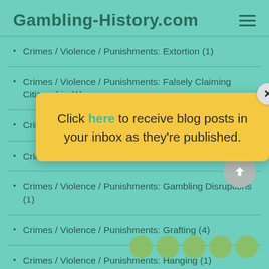Gambling-History.com
Crimes / Violence / Punishments: Extortion (1)
Crimes / Violence / Punishments: Falsely Claiming Citizenship (1)
Crimes / Violence / Punishments: Confidence Scams (7)
Crimes / Violence / Punishments: Fraud (3)
Crimes / Violence / Punishments: Gambling Disruptions (1)
Crimes / Violence / Punishments: Grafting (4)
Crimes / Violence / Punishments: Hanging (1)
[Figure (infographic): Popup overlay with yellow background and close button. Text: Click here to receive blog posts in your inbox as they're published.]